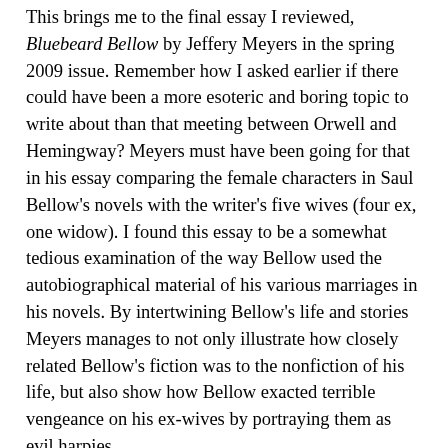This brings me to the final essay I reviewed, Bluebeard Bellow by Jeffery Meyers in the spring 2009 issue. Remember how I asked earlier if there could have been a more esoteric and boring topic to write about than that meeting between Orwell and Hemingway? Meyers must have been going for that in his essay comparing the female characters in Saul Bellow's novels with the writer's five wives (four ex, one widow). I found this essay to be a somewhat tedious examination of the way Bellow used the autobiographical material of his various marriages in his novels. By intertwining Bellow's life and stories Meyers manages to not only illustrate how closely related Bellow's fiction was to the nonfiction of his life, but also show how Bellow exacted terrible vengeance on his ex-wives by portraying them as evil harpies.
In the process, Meyers also managed to completely confuse me. Who is the real wife, and who the fictional? Which character was the fictional portrayal of the wife before the divorce, and which one was after? For each one of Bellow's wives there are usually two corresponding fictional characters, and keeping track of around 10-15 people, all of whom I've never heard of before reading this essay became entirely too taxing.
Perhaps that was Meyers' goal all along, to blend fiction and